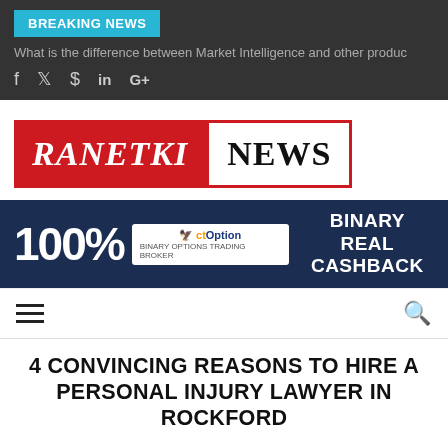BREAKING NEWS
What is the difference between Market Intelligence and other produc
f  ꚙ  in  G+
[Figure (logo): RANETKI NEWS logo — red background with italic white serif text RANETKI, white box with bold black serif NEWS]
[Figure (infographic): Banner ad: dark navy background, 100% in large white text, CT Option logo in white box, BINARY REAL CASHBACK in bold white text on right]
hamburger menu and search icon navigation bar
4 CONVINCING REASONS TO HIRE A PERSONAL INJURY LAWYER IN ROCKFORD